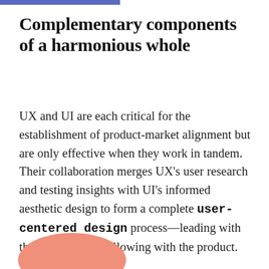Complementary components of a harmonious whole
UX and UI are each critical for the establishment of product-market alignment but are only effective when they work in tandem. Their collaboration merges UX's user research and testing insights with UI's informed aesthetic design to form a complete user-centered design process—leading with the prospect and following with the product.